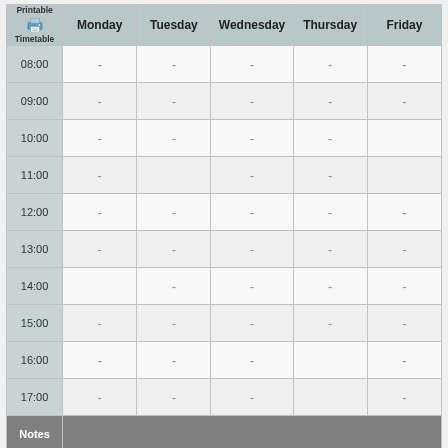| Printable Timetable | Monday | Tuesday | Wednesday | Thursday | Friday |
| --- | --- | --- | --- | --- | --- |
| 08:00 | - | - | - | - | - |
| 09:00 | - | - | - | - | - |
| 10:00 | - | - | - | - |  |
| 11:00 | - |  | - | - |  |
| 12:00 | - | - | - | - | - |
| 13:00 | - | - | - | - | - |
| 14:00 |  | - | - | - | - |
| 15:00 | - | - | - | - | - |
| 16:00 | - | - | - |  | - |
| 17:00 | - | - | - |  | - |
| Notes |  |  |  |  |  |
| Key | Lecture  Laboratory  Examples-Class  Drop-in  Workshop  Team-Study  Tutorial |  |  |  |  |